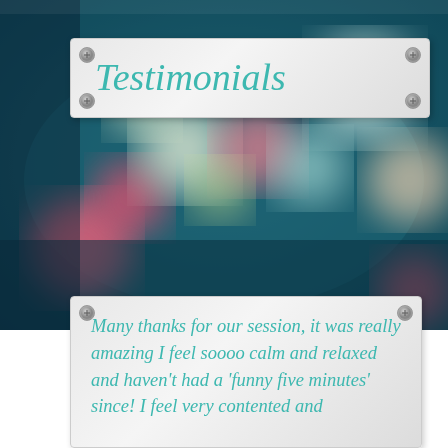Testimonials
[Figure (photo): Blurred bokeh background photo with teal/blue tones and colorful circular light blurs (pink, white, yellow-green, orange)]
Many thanks for our session, it was really amazing I feel soooo calm and relaxed and haven't had a 'funny five minutes' since! I feel very contented and